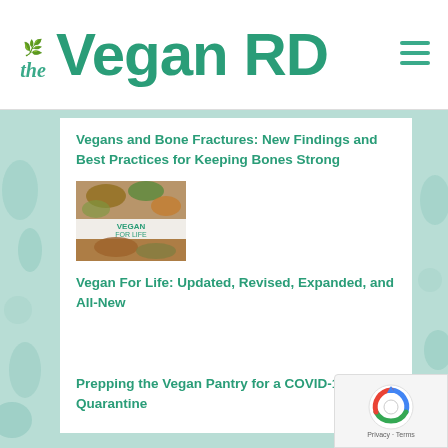the Vegan RD
Vegans and Bone Fractures: New Findings and Best Practices for Keeping Bones Strong
[Figure (photo): Book cover for 'Vegan For Life' showing food images]
Vegan For Life: Updated, Revised, Expanded, and All-New
Prepping the Vegan Pantry for a COVID-19 Quarantine
[Figure (logo): Google reCAPTCHA badge with Privacy and Terms links]